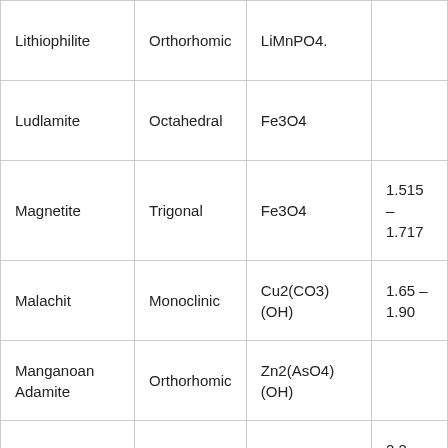| Lithiophilite | Orthorhomic | LiMnPO4. |  |
| Ludlamite | Octahedral | Fe3O4 |  |
| Magnetite | Trigonal | Fe3O4 | 1.515 – 1.717 |
| Malachit | Monoclinic | Cu2(CO3)(OH) | 1.65 – 1.90 |
| Manganoan Adamite | Orthorhomic | Zn2(AsO4)(OH) |  |
| Manganotantalite | Orthorhomic | Fe2O3 | 2.2 – 2.4 |